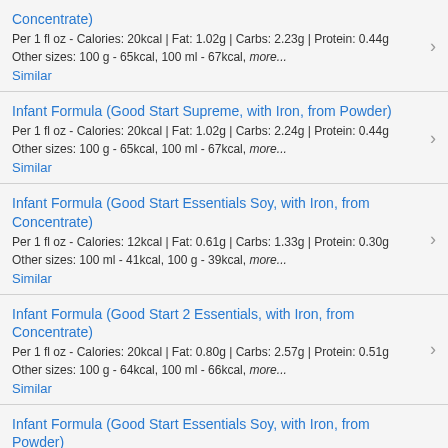Concentrate)
Per 1 fl oz - Calories: 20kcal | Fat: 1.02g | Carbs: 2.23g | Protein: 0.44g
Other sizes: 100 g - 65kcal, 100 ml - 67kcal, more...
Similar
Infant Formula (Good Start Supreme, with Iron, from Powder)
Per 1 fl oz - Calories: 20kcal | Fat: 1.02g | Carbs: 2.24g | Protein: 0.44g
Other sizes: 100 g - 65kcal, 100 ml - 67kcal, more...
Similar
Infant Formula (Good Start Essentials Soy, with Iron, from Concentrate)
Per 1 fl oz - Calories: 12kcal | Fat: 0.61g | Carbs: 1.33g | Protein: 0.30g
Other sizes: 100 ml - 41kcal, 100 g - 39kcal, more...
Similar
Infant Formula (Good Start 2 Essentials, with Iron, from Concentrate)
Per 1 fl oz - Calories: 20kcal | Fat: 0.80g | Carbs: 2.57g | Protein: 0.51g
Other sizes: 100 g - 64kcal, 100 ml - 66kcal, more...
Similar
Infant Formula (Good Start Essentials Soy, with Iron, from Powder)